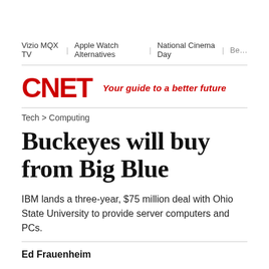Vizio MQX TV | Apple Watch Alternatives | National Cinema Day | Be…
[Figure (logo): CNET logo in red with tagline 'Your guide to a better future']
Tech > Computing
Buckeyes will buy from Big Blue
IBM lands a three-year, $75 million deal with Ohio State University to provide server computers and PCs.
Ed Frauenheim